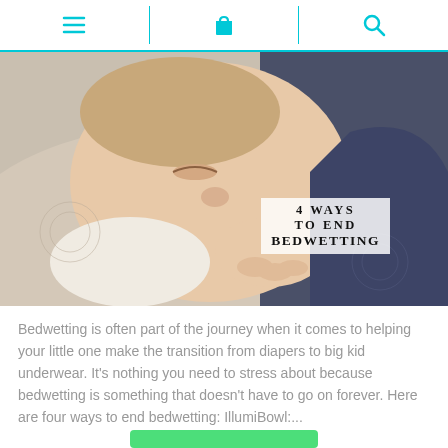[Figure (screenshot): Mobile website navigation bar with hamburger menu icon, shopping bag icon, and search icon, separated by cyan/teal vertical dividers and bottom border]
[Figure (photo): Sleeping baby/toddler with hands folded under cheek, wearing dark blue onesie, resting on patterned pillow. Overlay text reads '4 WAYS TO END BEDWETTING']
Bedwetting is often part of the journey when it comes to helping your little one make the transition from diapers to big kid underwear. It's nothing you need to stress about because bedwetting is something that doesn't have to go on forever. Here are four ways to end bedwetting: IllumiBowl:...